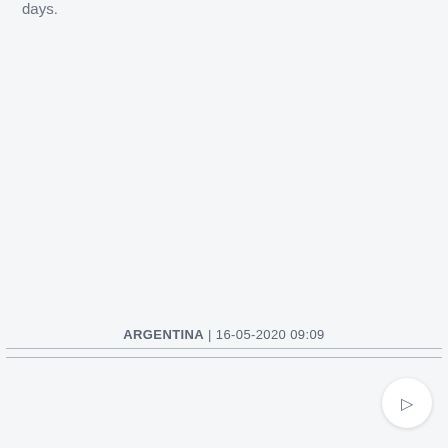days.
ARGENTINA | 16-05-2020 09:09